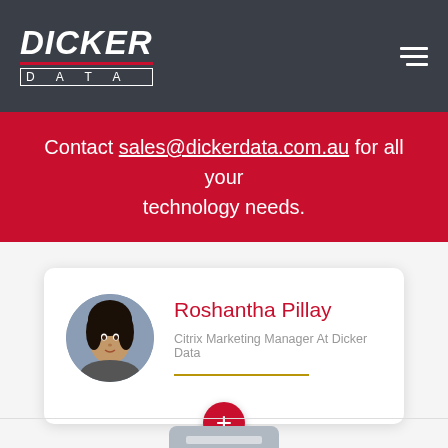[Figure (logo): Dicker Data logo in white on dark background]
Contact sales@dickerdata.com.au for all your technology needs.
[Figure (photo): Circular profile photo of Roshantha Pillay]
Roshantha Pillay
Citrix Marketing Manager At Dicker Data